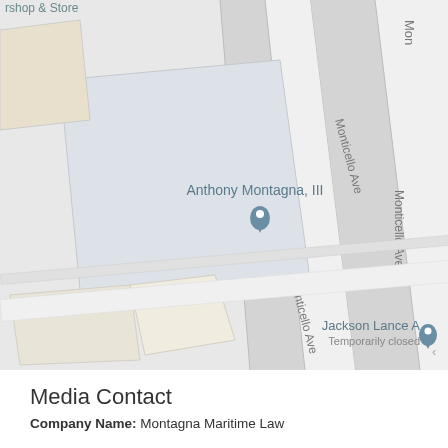[Figure (map): Google Maps screenshot showing a street map with Monticello Ave running diagonally. Two business pins are visible: 'Anthony Montagna, III' and 'Jackson Lance A - Temporarily closed'. Building blocks and street labels are visible. Partially visible text at top: 'rshop & Store' and 'Mon'.]
Media Contact
Company Name: Montagna Maritime Law